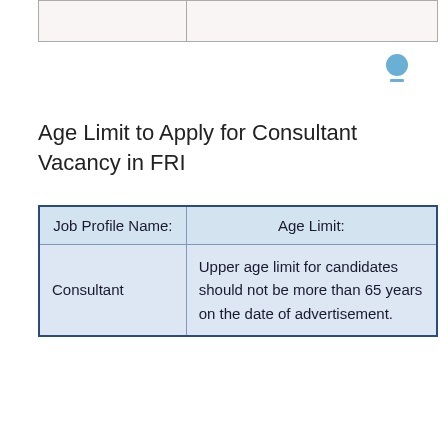|  |  |
Age Limit to Apply for Consultant Vacancy in FRI
| Job Profile Name: | Age Limit: |
| --- | --- |
| Consultant | Upper age limit for candidates should not be more than 65 years on the date of advertisement. |